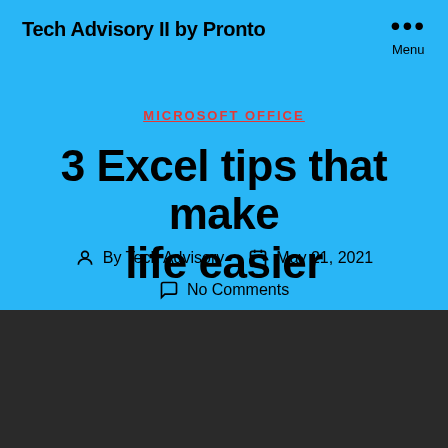Tech Advisory II by Pronto
MICROSOFT OFFICE
3 Excel tips that make life easier
By Tech Advisory   May 21, 2021
No Comments
[Figure (photo): A smartphone displaying the Microsoft Excel app with a green background and white Excel logo, lying on a dark wooden surface]